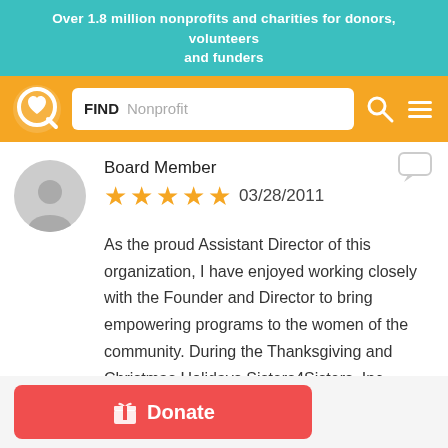Over 1.8 million nonprofits and charities for donors, volunteers and funders
[Figure (screenshot): Navigation bar with GuideStar/Candid logo (heart inside Q circle), search box labeled FIND with placeholder 'Nonprofit', search icon, and hamburger menu icon on orange background]
Board Member
★★★★★ 03/28/2011
As the proud Assistant Director of this organization, I have enjoyed working closely with the Founder and Director to bring empowering programs to the women of the community. During the Thanksgiving and Christmas Holidays Sisters4Sisters, Inc provided resources, food baskets, and toys to the less fortunate families in the community. It was heartwarming to see the number of volunteers that came out to lend a
Donate